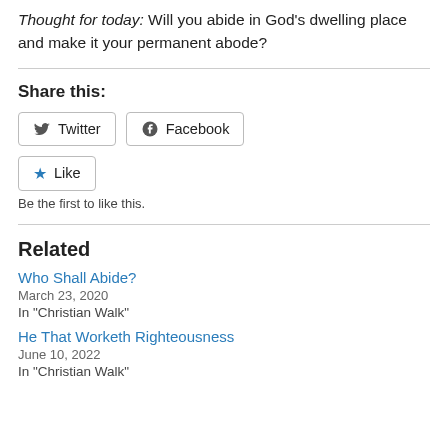Thought for today: Will you abide in God's dwelling place and make it your permanent abode?
Share this:
Twitter  Facebook
Like
Be the first to like this.
Related
Who Shall Abide?
March 23, 2020
In "Christian Walk"
He That Worketh Righteousness
June 10, 2022
In "Christian Walk"